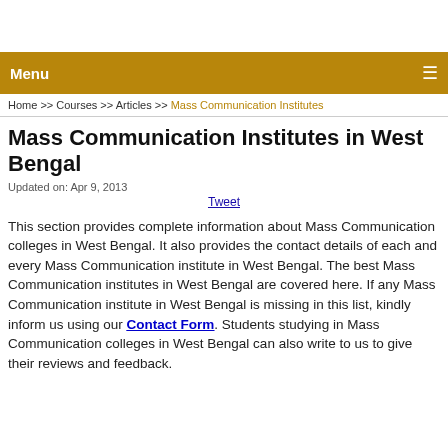Menu
Home >> Courses >> Articles >> Mass Communication Institutes
Mass Communication Institutes in West Bengal
Updated on: Apr 9, 2013
Tweet
This section provides complete information about Mass Communication colleges in West Bengal. It also provides the contact details of each and every Mass Communication institute in West Bengal. The best Mass Communication institutes in West Bengal are covered here. If any Mass Communication institute in West Bengal is missing in this list, kindly inform us using our Contact Form. Students studying in Mass Communication colleges in West Bengal can also write to us to give their reviews and feedback.